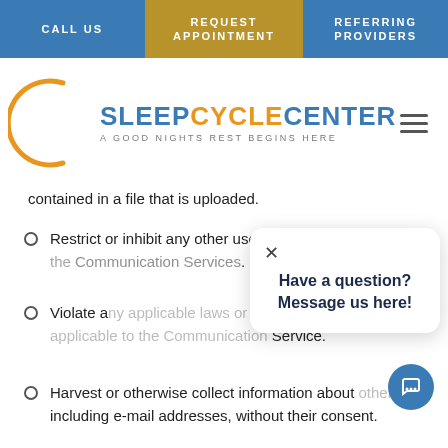CALL US | REQUEST APPOINTMENT | REFERRING PROVIDERS
[Figure (logo): Sleep Cycle Center logo with orange crescent circle and text 'SLEEP CYCLE CENTER — A GOOD NIGHTS REST BEGINS HERE']
contained in a file that is uploaded.
Restrict or inhibit any other user from using and enjoying the Communication Services.
Violate any applicable laws or regulations, which may be applicable to the Communication Service.
Harvest or otherwise collect information about others, including e-mail addresses, without their consent.
Have a question? Message us here!